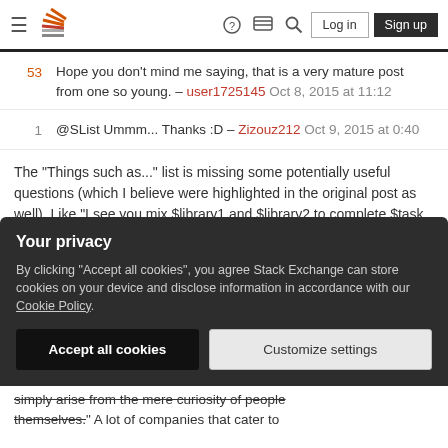Stack Exchange navigation bar with hamburger menu, logo, help, chat, search icons, Log in and Sign up buttons
53  Hope you don't mind me saying, that is a very mature post from one so young. – user1725145 Oct 8, 2015 at 11:12
1  @SList Ummm... Thanks :D – Zizouz212 Oct 9, 2015 at 0:40
The "Things such as..." list is missing some potentially useful questions (which I believe were highlighted in the original post as well). Like "I see you mix $library1 and $library2 to complete $task, can you explain why not just use one since they both do the same $list of things?" or "Can you share your experience with $new and shiny app as early adopters?" etc.
Your privacy
By clicking "Accept all cookies", you agree Stack Exchange can store cookies on your device and disclose information in accordance with our Cookie Policy.
Accept all cookies   Customize settings
simply arise from the mere curiosity of people themselves." A lot of companies that cater to